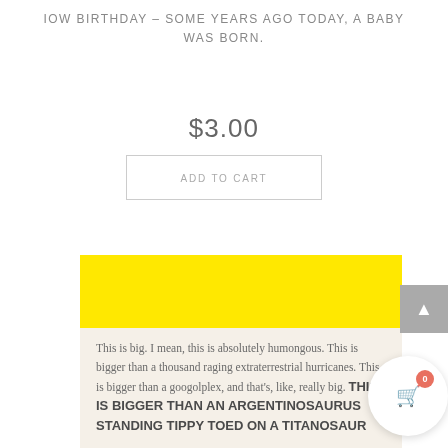IOW BIRTHDAY – SOME YEARS AGO TODAY, A BABY WAS BORN.
$3.00
ADD TO CART
[Figure (photo): Book cover preview image showing a yellow top section and cream bottom with text: 'This is big. I mean, this is absolutely humongous. This is bigger than a thousand raging extraterrestrial hurricanes. This is bigger than a googolplex, and that's, like, really big. THIS IS BIGGER THAN AN ARGENTINOSAURUS STANDING TIPPY TOED ON A TITANOSAUR']